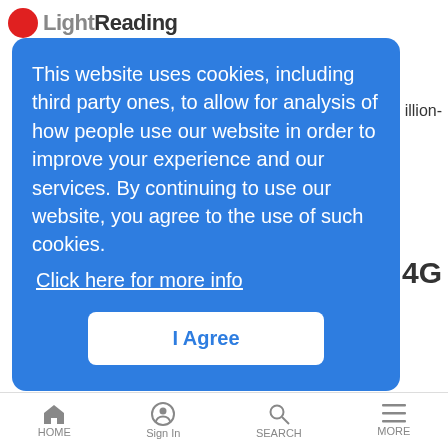Light Reading
This website uses cookies, including third party ones, to allow for analysis of how people use our website in order to improve your experience and our services. By continuing to use our website, you agree to the use of such cookies. Click here for more info
I Agree
computing, report warns
News Analysis | 3/23/2022
Of the report's many warnings: 'No online system can be trusted anymore because the current key establishment and key exchanges can be breached.'
The open RAN diversity mission is not going to plan
HOME  Sign In  SEARCH  MORE